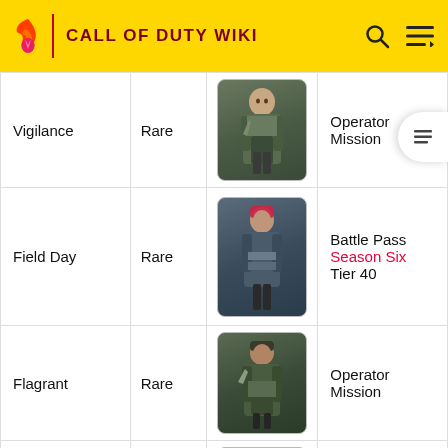CALL OF DUTY WIKI
| Name | Rarity | Image | How to Obtain |
| --- | --- | --- | --- |
| Vigilance | Rare | [operator image] | Operator Mission |
| Field Day | Rare | [operator image] | Battle Pass Season Six Tier 40 |
| Flagrant | Rare | [operator image] | Operator Mission |
| Jester | Rare | [operator image] | Operator Mission |